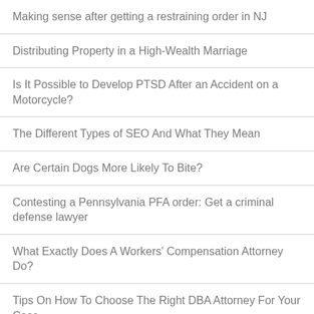Making sense after getting a restraining order in NJ
Distributing Property in a High-Wealth Marriage
Is It Possible to Develop PTSD After an Accident on a Motorcycle?
The Different Types of SEO And What They Mean
Are Certain Dogs More Likely To Bite?
Contesting a Pennsylvania PFA order: Get a criminal defense lawyer
What Exactly Does A Workers' Compensation Attorney Do?
Tips On How To Choose The Right DBA Attorney For Your Case
Juvenile Offenses in New Jersey
What To Do When Getting A Divorce
Dispelling Family Law Myths